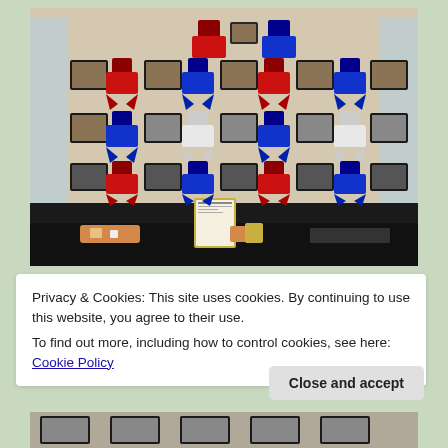[Figure (photo): Interior wall of a bakery or shop displaying numerous framed award plaques and competition ribbons (blue, red, and white rosette ribbons) arranged in rows. Below the wall display is a counter with baked goods and products. A framed certificate sits on the counter. Windows are visible on left and right sides.]
Privacy & Cookies: This site uses cookies. By continuing to use this website, you agree to their use.
To find out more, including how to control cookies, see here: Cookie Policy
Close and accept
[Figure (photo): Bottom strip showing part of another photo with framed items on a wall.]